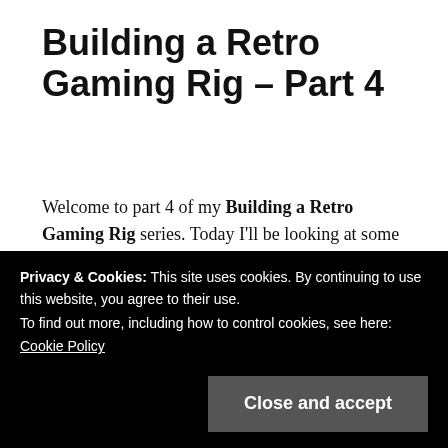Building a Retro Gaming Rig – Part 4
Welcome to part 4 of my Building a Retro Gaming Rig series. Today I'll be looking at some sound cards for the build.
Back in the early nineties when I first started taking an interest in PC gaming, most entry-
Privacy & Cookies: This site uses cookies. By continuing to use this website, you agree to their use.
To find out more, including how to control cookies, see here:
Cookie Policy
Close and accept